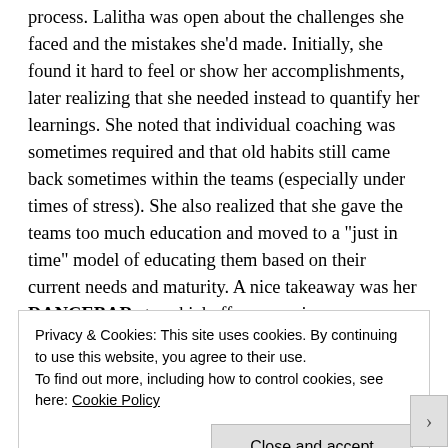process. Lalitha was open about the challenges she faced and the mistakes she'd made. Initially, she found it hard to feel or show her accomplishments, later realizing that she needed instead to quantify her learnings. She noted that individual coaching was sometimes required and that old habits still came back sometimes within the teams (especially under times of stress). She also realized that she gave the teams too much education and moved to a "just in time" model of educating them based on their current needs and maturity. A nice takeaway was her DANCEBAR story kickoff mnemonic: Draw/mindmap, Acceptance Criteria, Non-functional requirements, Think like the Customer, Error conditions, Business rules, Automation, Regression. In
Privacy & Cookies: This site uses cookies. By continuing to use this website, you agree to their use.
To find out more, including how to control cookies, see here: Cookie Policy